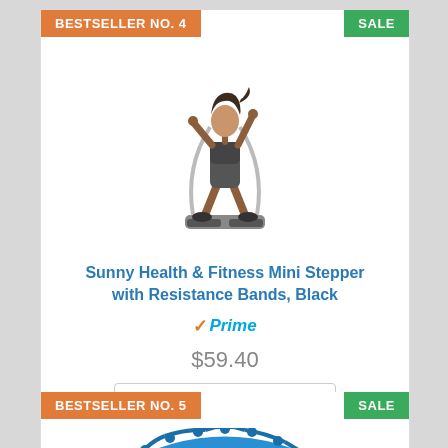BESTSELLER NO. 4
SALE
[Figure (photo): Woman using a mini stepper fitness machine with resistance bands]
Sunny Health & Fitness Mini Stepper with Resistance Bands, Black
Prime
$59.40
Buy on Amazon
BESTSELLER NO. 5
SALE
[Figure (photo): Blue hula hoop fitness ring, partially visible at bottom of page]